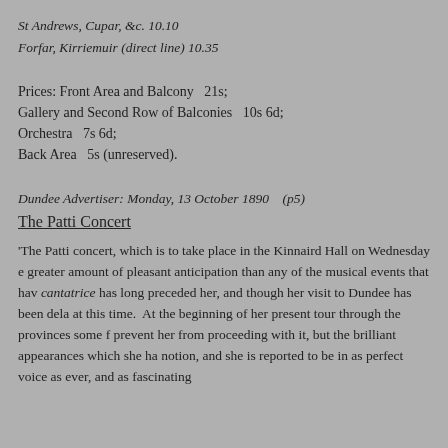St Andrews, Cupar, &c.  10.10
Forfar, Kirriemuir (direct line) 10.35
Prices: Front Area and Balcony   21s;
Gallery and Second Row of Balconies   10s 6d;
Orchestra   7s 6d;
Back Area   5s (unreserved).
Dundee Advertiser: Monday, 13 October 1890   (p5)
The Patti Concert
'The Patti concert, which is to take place in the Kinnaird Hall on Wednesday e greater amount of pleasant anticipation than any of the musical events that hav cantatrice has long preceded her, and though her visit to Dundee has been dela at this time.  At the beginning of her present tour through the provinces some f prevent her from proceeding with it, but the brilliant appearances which she ha notion, and she is reported to be in as perfect voice as ever, and as fascinating